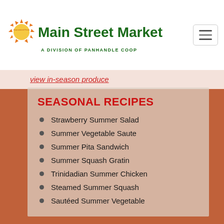Main Street Market — A Division of Panhandle Coop
view in-season produce
SEASONAL RECIPES
Strawberry Summer Salad
Summer Vegetable Saute
Summer Pita Sandwich
Summer Squash Gratin
Trinidadian Summer Chicken
Steamed Summer Squash
Sautéed Summer Vegetable